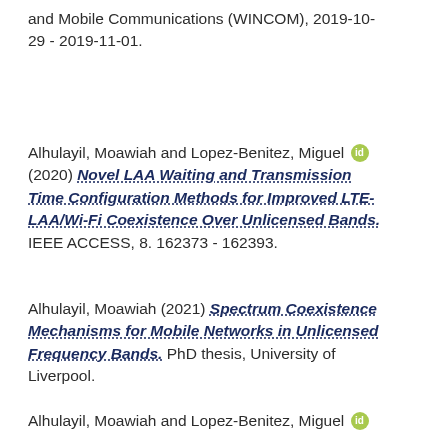and Mobile Communications (WINCOM), 2019-10-29 - 2019-11-01.
Alhulayil, Moawiah and Lopez-Benitez, Miguel (2020) Novel LAA Waiting and Transmission Time Configuration Methods for Improved LTE-LAA/Wi-Fi Coexistence Over Unlicensed Bands. IEEE ACCESS, 8. 162373 - 162393.
Alhulayil, Moawiah (2021) Spectrum Coexistence Mechanisms for Mobile Networks in Unlicensed Frequency Bands. PhD thesis, University of Liverpool.
Alhulayil, Moawiah and Lopez-Benitez, Miguel